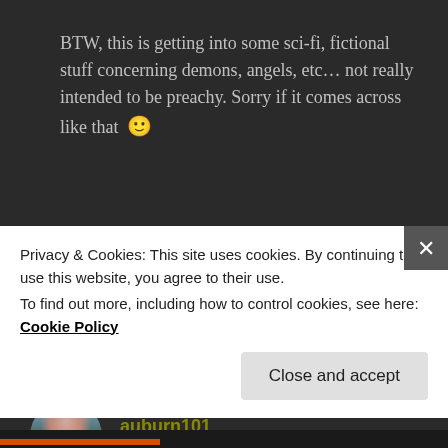BTW, this is getting into some sci-fi, fictional stuff concerning demons, angels, etc... not really intended to be preachy. Sorry if it comes across like that 🙂
★ Like
Log in to Reply
auburn101
DECEMBER 27, 2011 AT 9:09 PM
Privacy & Cookies: This site uses cookies. By continuing to use this website, you agree to their use.
To find out more, including how to control cookies, see here: Cookie Policy
Close and accept